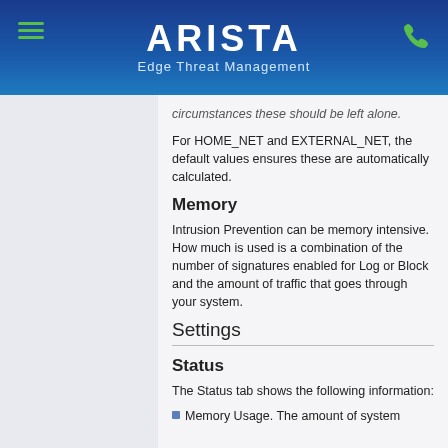[Figure (logo): Arista Edge Threat Management header logo with hamburger menu icon on left and phone icon on right, blue gradient background]
circumstances these should be left alone.
For HOME_NET and EXTERNAL_NET, the default values ensures these are automatically calculated.
Memory
Intrusion Prevention can be memory intensive. How much is used is a combination of the number of signatures enabled for Log or Block and the amount of traffic that goes through your system.
Settings
Status
The Status tab shows the following information:
Memory Usage. The amount of system